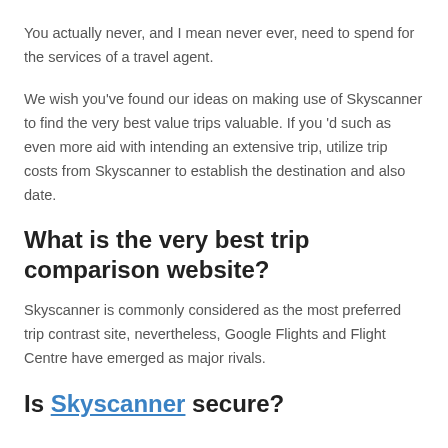You actually never, and I mean never ever, need to spend for the services of a travel agent.
We wish you've found our ideas on making use of Skyscanner to find the very best value trips valuable. If you 'd such as even more aid with intending an extensive trip, utilize trip costs from Skyscanner to establish the destination and also date.
What is the very best trip comparison website?
Skyscanner is commonly considered as the most preferred trip contrast site, nevertheless, Google Flights and Flight Centre have emerged as major rivals.
Is Skyscanner secure?